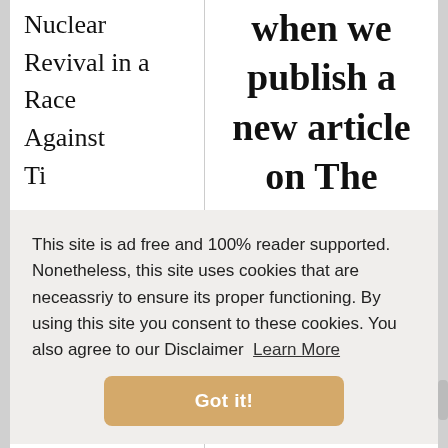Nuclear Revival in a Race Against T[ime]
when we publish a new article on The
This site is ad free and 100% reader supported. Nonetheless, this site uses cookies that are neceassriy to ensure its proper functioning. By using this site you consent to these cookies. You also agree to our Disclaimer  Learn More
Got it!
Nord
tor free